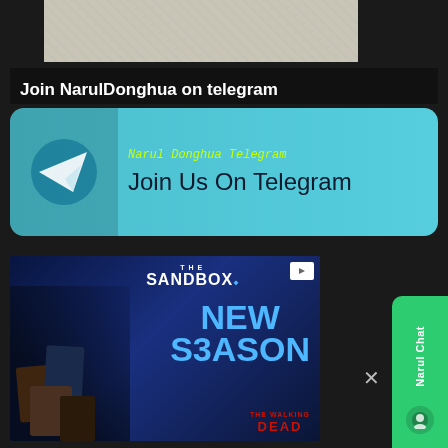[Figure (illustration): Top strip showing partial image with light gray/paper-money background]
Join NarulDonghua on telegram
[Figure (illustration): Telegram channel banner with cyan/blue background, Telegram logo icon on left, handwritten-style text 'Narul Donghua Telegram' in yellow-green, and 'Join Us On Telegram' in dark text]
[Figure (illustration): The Sandbox advertisement banner showing Minecraft-style Walking Dead characters, 'NEW S3ASON' in blue text, The Sandbox logo, The Walking Dead logo at bottom]
[Figure (illustration): Narul Chat widget - green sidebar widget on right with chat icon, close X button nearby]